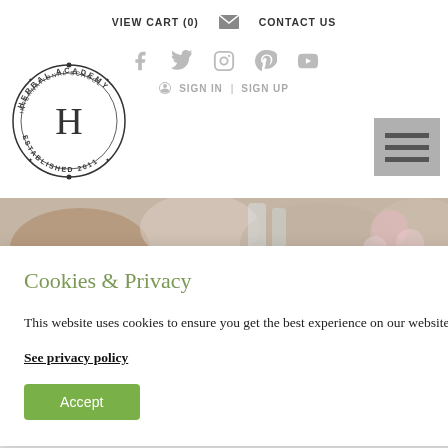VIEW CART (0)   CONTACT US
[Figure (infographic): Social media icons row: Facebook, Twitter, Instagram, Pinterest, YouTube]
SIGN IN | SIGN UP
[Figure (logo): Herbal Academy International School circular stamp logo with letter H]
[Figure (photo): Blurred background photo of herbal/floral table setting with glass jars and flowers]
Cookies & Privacy
This website uses cookies to ensure you get the best experience on our website.
See privacy policy
Accept